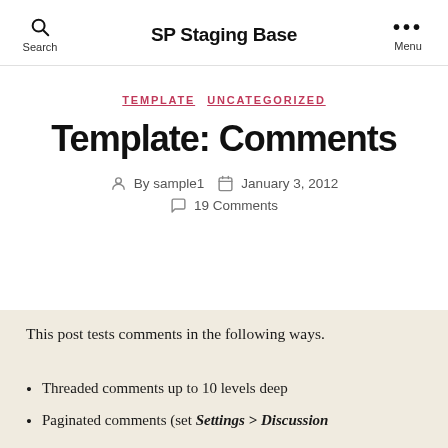SP Staging Base
TEMPLATE  UNCATEGORIZED
Template: Comments
By sample1  January 3, 2012  19 Comments
This post tests comments in the following ways.
Threaded comments up to 10 levels deep
Paginated comments (set Settings > Discussion